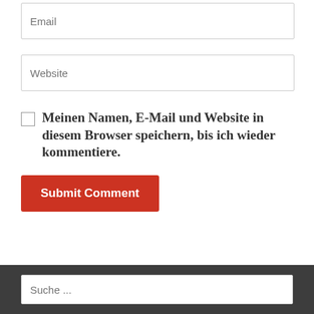Email
Website
Meinen Namen, E-Mail und Website in diesem Browser speichern, bis ich wieder kommentiere.
Submit Comment
Suche ...